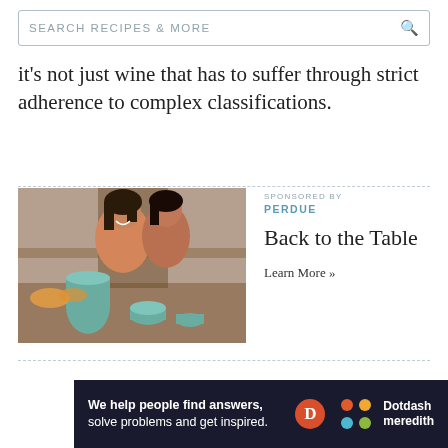SEARCH RECIPES & MORE
it's not just wine that has to suffer through strict adherence to complex classifications.
[Figure (photo): Two young girls laughing and whispering at a family dining table with food and teal dishware in the foreground. Sponsored by Perdue — Back to the Table. Learn More »]
We help people find answers, solve problems and get inspired. Dotdash meredith